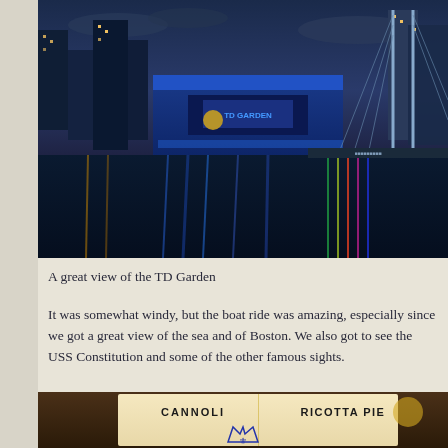[Figure (photo): Night cityscape of Boston skyline with TD Garden arena lit in blue, reflections on water, and a cable-stayed bridge on the right]
A great view of the TD Garden
It was somewhat windy, but the boat ride was amazing, especially since we got a great view of the sea and of Boston. We also got to see the USS Constitution and some of the other famous sights.
[Figure (photo): Close-up of a menu or box showing CANNOLI and RICOTTA PIE labels, with a crown logo visible at the bottom]